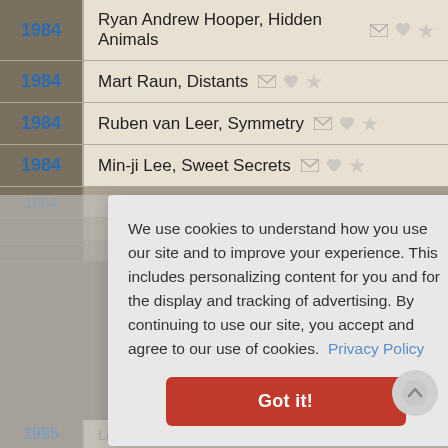1984 — Ryan Andrew Hooper, Hidden Animals
1984 — Mart Raun, Distants
1984 — Ruben van Leer, Symmetry
1984 — Min-ji Lee, Sweet Secrets
We use cookies to understand how you use our site and to improve your experience. This includes personalizing content for you and for the display and tracking of advertising. By continuing to use our site, you accept and agree to our use of cookies. Privacy Policy
Got it!
1985 — (partially visible row)